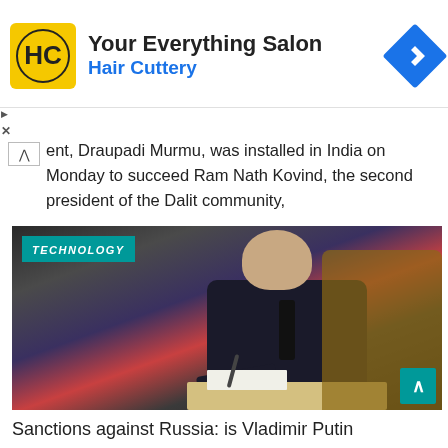[Figure (advertisement): Hair Cuttery advertisement banner with logo showing HC letters in circle on yellow background, text 'Your Everything Salon' and 'Hair Cuttery' in blue, and a blue diamond-shaped navigation icon]
ent, Draupadi Murmu, was installed in India on Monday to succeed Ram Nath Kovind, the second president of the Dalit community,
[Figure (photo): Photo of Vladimir Putin in a dark suit and black tie sitting at a desk writing, with an ornate chair visible, labeled with TECHNOLOGY badge in teal]
Sanctions against Russia: is Vladimir Putin